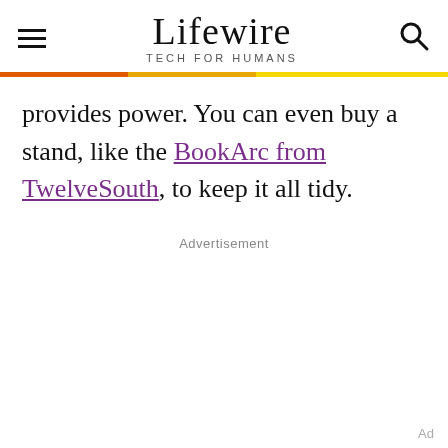Lifewire TECH FOR HUMANS
provides power. You can even buy a stand, like the BookArc from TwelveSouth, to keep it all tidy.
Advertisement
Ad